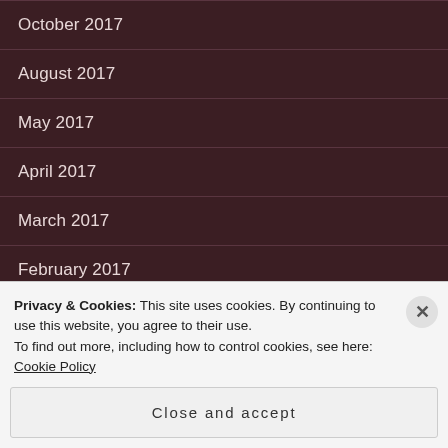October 2017
August 2017
May 2017
April 2017
March 2017
February 2017
January 2017
December 2016
Privacy & Cookies: This site uses cookies. By continuing to use this website, you agree to their use.
To find out more, including how to control cookies, see here: Cookie Policy
Close and accept